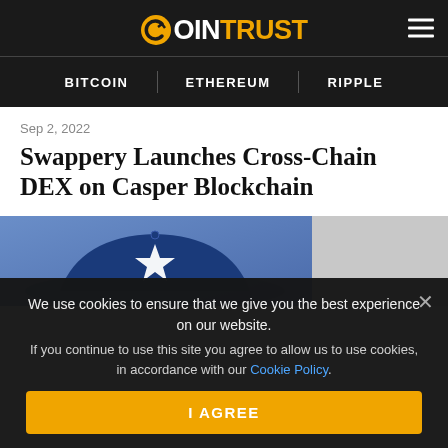COINTRUST
BITCOIN  ETHEREUM  RIPPLE
Sep 2, 2022
Swappery Launches Cross-Chain DEX on Casper Blockchain
[Figure (photo): Photo of a Dallas Cowboys cap (blue with silver star) and a grey sidebar area]
We use cookies to ensure that we give you the best experience on our website. If you continue to use this site you agree to allow us to use cookies, in accordance with our Cookie Policy.
I AGREE